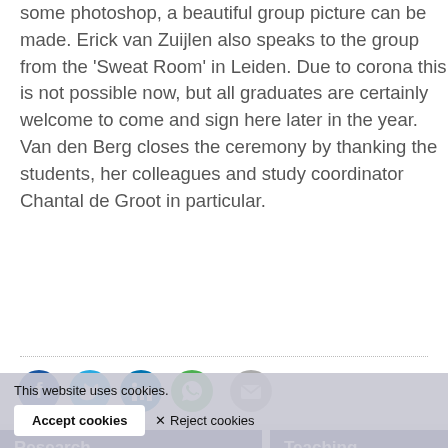some photoshop, a beautiful group picture can be made. Erick van Zuijlen also speaks to the group from the 'Sweat Room' in Leiden. Due to corona this is not possible now, but all graduates are certainly welcome to come and sign here later in the year. Van den Berg closes the ceremony by thanking the students, her colleagues and study coordinator Chantal de Groot in particular.
[Figure (other): Social media share icons: Facebook (blue), Twitter (light blue), LinkedIn (blue), WhatsApp (green), Email (gray)]
Research
Teaching
[Figure (photo): Thumbnail image for Cyber Security Governance research item]
Cyber Security Governance
Crisis and Security Management (MSc)
Cyber Security (MSc)
Security Studies (BSc)
This website uses cookies.
Accept cookies
✕ Reject cookies